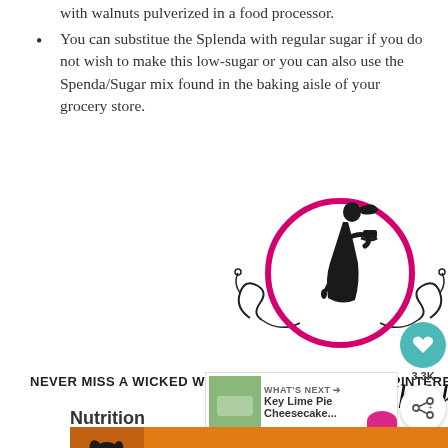with walnuts pulverized in a food processor.
You can substitue the Splenda with regular sugar if you do not wish to make this low-sugar or you can also use the Spenda/Sugar mix found in the baking aisle of your grocery store.
[Figure (logo): A Wicked Whisk logo: silhouette of a woman holding a cupcake inside a pink circle, with decorative scrollwork, and the text 'A Wicked Whisk' in script font below.]
NEVER MISS A WICKED WHISK RECIPE  FACEBOOK / PINTEREST / INS
Nutrition
[Figure (infographic): Advertisement banner: orange background with a dog image and text YOUR NEW BFF in white bold letters, with a close X button.]